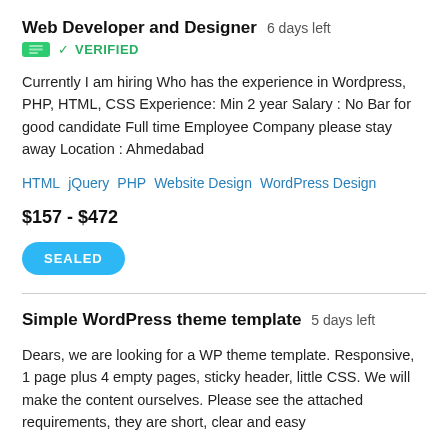Web Developer and Designer  6 days left
VERIFIED
Currently I am hiring Who has the experience in Wordpress, PHP, HTML, CSS Experience: Min 2 year Salary : No Bar for good candidate Full time Employee Company please stay away Location : Ahmedabad
HTML   jQuery   PHP   Website Design   WordPress Design
$157 - $472
SEALED
Simple WordPress theme template  5 days left
Dears, we are looking for a WP theme template. Responsive, 1 page plus 4 empty pages, sticky header, little CSS. We will make the content ourselves. Please see the attached requirements, they are short, clear and easy